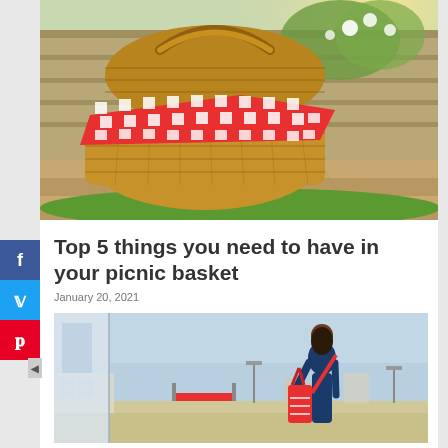[Figure (photo): Wicker picnic basket with red checkered cloth on wooden deck with green grass and flowers in background]
Top 5 things you need to have in your picnic basket
January 20, 2021
[Figure (photo): Woman with red bag standing at airport terminal looking out at runway]